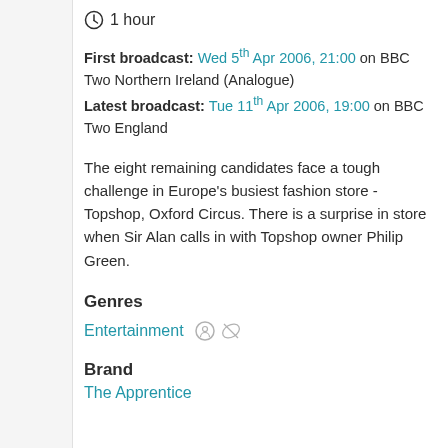1 hour
First broadcast: Wed 5th Apr 2006, 21:00 on BBC Two Northern Ireland (Analogue) Latest broadcast: Tue 11th Apr 2006, 19:00 on BBC Two England
The eight remaining candidates face a tough challenge in Europe's busiest fashion store - Topshop, Oxford Circus. There is a surprise in store when Sir Alan calls in with Topshop owner Philip Green.
Genres
Entertainment
Brand
The Apprentice